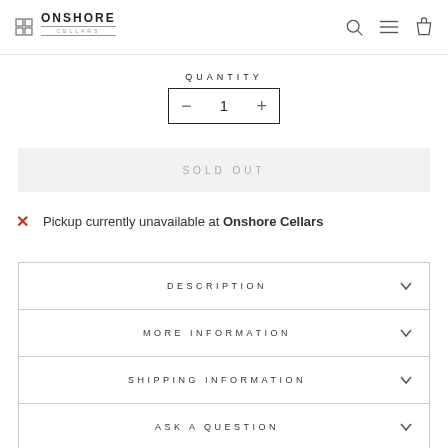ONSHORE CELLARS
QUANTITY
- 1 +
SOLD OUT
Pickup currently unavailable at Onshore Cellars
DESCRIPTION
MORE INFORMATION
SHIPPING INFORMATION
ASK A QUESTION